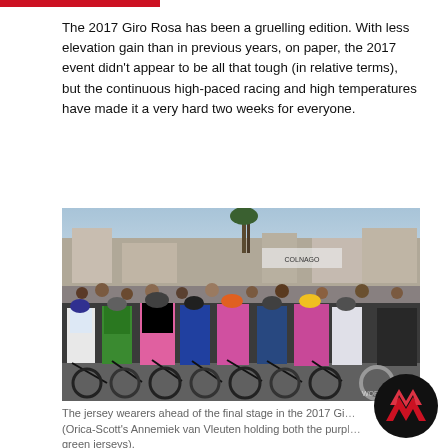The 2017 Giro Rosa has been a gruelling edition. With less elevation gain than in previous years, on paper, the 2017 event didn't appear to be all that tough (in relative terms), but the continuous high-paced racing and high temperatures have made it a very hard two weeks for everyone.
[Figure (photo): Cyclists lined up at the start of a stage in the 2017 Giro Rosa. Multiple riders wearing colourful jerseys including pink, green, and other team colours, on bicycles on a road with spectators and vehicles in the background.]
The jersey wearers ahead of the final stage in the 2017 Gi… (Orica-Scott's Annemiek van Vleuten holding both the purpl… green jerseys).